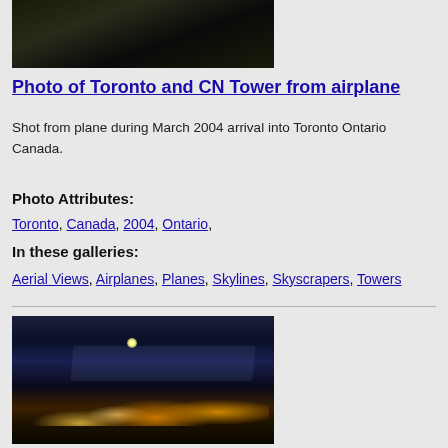[Figure (photo): Aerial photo of Toronto and CN Tower taken from airplane window, dark forested/urban view]
Photo of Toronto and CN Tower from airplane
Shot from plane during March 2004 arrival into Toronto Ontario Canada.
Photo Attributes:
Toronto, Canada, 2004, Ontario,
In these galleries:
Aerial Views, Airplanes, Planes, Skylines, Skyscrapers, Towers
[Figure (photo): Night aerial photo of Toronto city lights taken from airplane, city glow visible below airplane wing against dark sky]